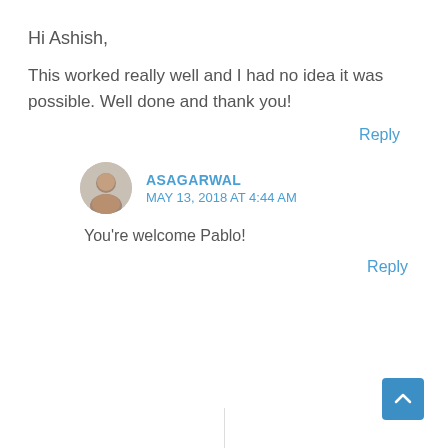Hi Ashish,
This worked really well and I had no idea it was possible. Well done and thank you!
Reply
ASAGARWAL
MAY 13, 2018 AT 4:44 AM
You're welcome Pablo!
Reply